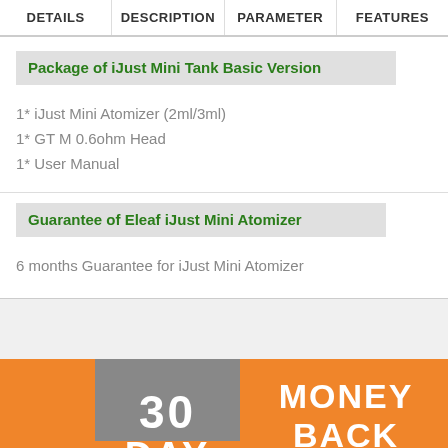DETAILS | DESCRIPTION | PARAMETER | FEATURES
Package of iJust Mini Tank Basic Version
1* iJust Mini Atomizer (2ml/3ml)
1* GT M 0.6ohm Head
1* User Manual
Guarantee of Eleaf iJust Mini Atomizer
6 months Guarantee for iJust Mini Atomizer
[Figure (infographic): 30 DAY MONEY BACK banner with orange background and grey box]